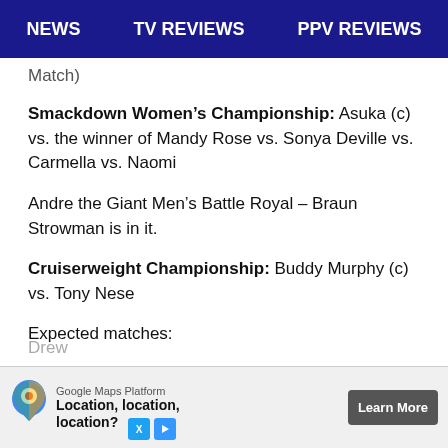NEWS  TV REVIEWS  PPV REVIEWS
Match)
Smackdown Women's Championship: Asuka (c) vs. the winner of Mandy Rose vs. Sonya Deville vs. Carmella vs. Naomi
Andre the Giant Men's Battle Royal – Braun Strowman is in it.
Cruiserweight Championship: Buddy Murphy (c) vs. Tony Nese
Expected matches:
WWE Championship: Daniel Bryan (c) vs. Kofi Kingston
Drew
[Figure (other): Google Maps Platform advertisement banner with map pin icon, text 'Location, location, location?', and Learn More button]